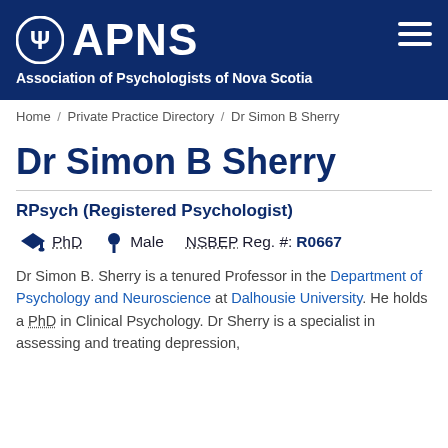APNS — Association of Psychologists of Nova Scotia
Home / Private Practice Directory / Dr Simon B Sherry
Dr Simon B Sherry
RPsych (Registered Psychologist)
PhD   Male   NSBEP Reg. #: R0667
Dr Simon B. Sherry is a tenured Professor in the Department of Psychology and Neuroscience at Dalhousie University. He holds a PhD in Clinical Psychology. Dr Sherry is a specialist in assessing and treating depression,